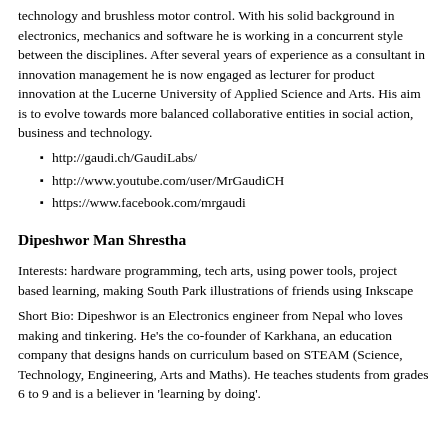technology and brushless motor control. With his solid background in electronics, mechanics and software he is working in a concurrent style between the disciplines. After several years of experience as a consultant in innovation management he is now engaged as lecturer for product innovation at the Lucerne University of Applied Science and Arts. His aim is to evolve towards more balanced collaborative entities in social action, business and technology.
http://gaudi.ch/GaudiLabs/
http://www.youtube.com/user/MrGaudiCH
https://www.facebook.com/mrgaudi
Dipeshwor Man Shrestha
Interests: hardware programming, tech arts, using power tools, project based learning, making South Park illustrations of friends using Inkscape
Short Bio: Dipeshwor is an Electronics engineer from Nepal who loves making and tinkering. He's the co-founder of Karkhana, an education company that designs hands on curriculum based on STEAM (Science, Technology, Engineering, Arts and Maths). He teaches students from grades 6 to 9 and is a believer in 'learning by doing'.